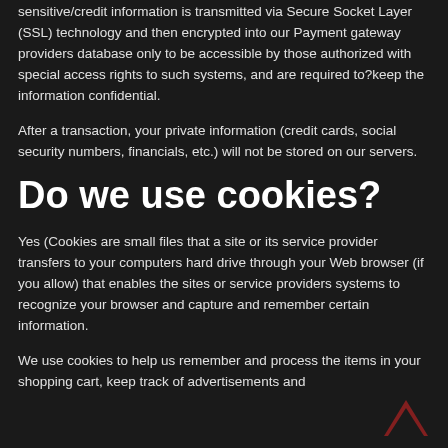sensitive/credit information is transmitted via Secure Socket Layer (SSL) technology and then encrypted into our Payment gateway providers database only to be accessible by those authorized with special access rights to such systems, and are required to?keep the information confidential.
After a transaction, your private information (credit cards, social security numbers, financials, etc.) will not be stored on our servers.
Do we use cookies?
Yes (Cookies are small files that a site or its service provider transfers to your computers hard drive through your Web browser (if you allow) that enables the sites or service providers systems to recognize your browser and capture and remember certain information.
We use cookies to help us remember and process the items in your shopping cart, keep track of advertisements and